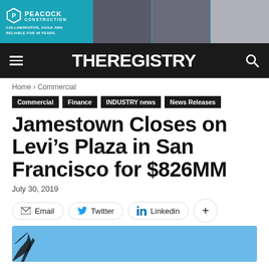[Figure (photo): Peacock Construction advertisement banner with teal background, logo on left and photos of construction/interior spaces on right]
THEREGISTRY
Home › Commercial
Commercial | Finance | INDUSTRY news | News Releases
Jamestown Closes on Levi's Plaza in San Francisco for $826MM
July 30, 2019
Email  Twitter  Linkedin  +
[Figure (photo): Partial view of blue sky with tree branches from below]